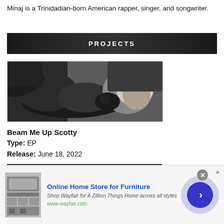Minaj is a Trinidadian-born American rapper, singer, and songwriter.
PROJECTS
[Figure (photo): Black and white photo of Nicki Minaj posing on a bed holding a flower in her mouth, wearing a white outfit, album cover style image for Beam Me Up Scotty]
Beam Me Up Scotty
Type: EP
Release: June 18, 2022
[Figure (photo): Partially visible dark album cover image at the bottom of the page]
[Figure (infographic): Advertisement banner for Wayfair Online Home Store for Furniture with text 'Shop Wayfair for A Zillion Things Home across all styles' and URL www.wayfair.com, featuring furniture image and navigation arrow]